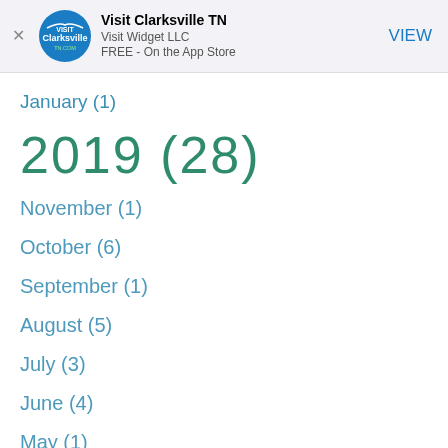[Figure (screenshot): App Store smart banner for Visit Clarksville TN app by Visit Widget LLC, FREE on the App Store, with VIEW button]
January (1)
2019 (28)
November (1)
October (6)
September (1)
August (5)
July (3)
June (4)
May (1)
April (3)
March (...)